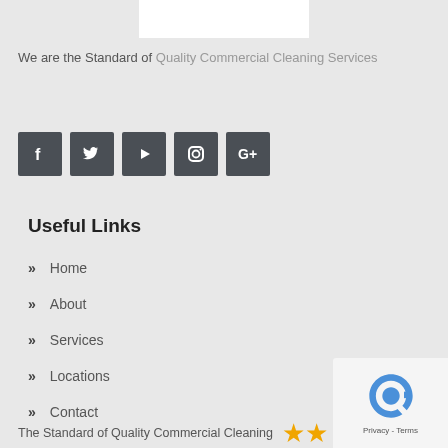[Figure (logo): White logo box at top center]
We are the Standard of Quality Commercial Cleaning Services
[Figure (infographic): Social media icons row: Facebook, Twitter, YouTube, Instagram, Google+]
Useful Links
Home
About
Services
Locations
Contact
The Standard of Quality Commercial Cleaning
[Figure (logo): reCAPTCHA badge bottom right]
[Figure (infographic): Star rating icons, two orange stars visible]